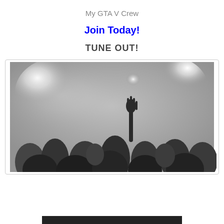My GTA V Crew
Join Today!
TUNE OUT!
[Figure (photo): Black and white photo of a concert crowd with bright stage lights. Silhouettes of people with hands raised, strong backlighting creating glowing halos from spotlights.]
[Figure (other): Black bar at bottom of page]